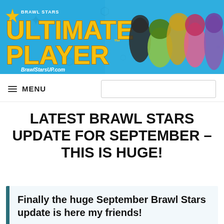[Figure (illustration): Brawl Stars Ultimate Player website header banner with logo text 'ULTIMATE PLAYER' in yellow, 'BrawlStarsUP.com' tagline, and game characters on blue background]
☆ BRAWL STARS | ULTIMATE PLAYER™ | BrawlStarsUP.com
MENU
LATEST BRAWL STARS UPDATE FOR SEPTEMBER – THIS IS HUGE!
Finally the huge September Brawl Stars update is here my friends!